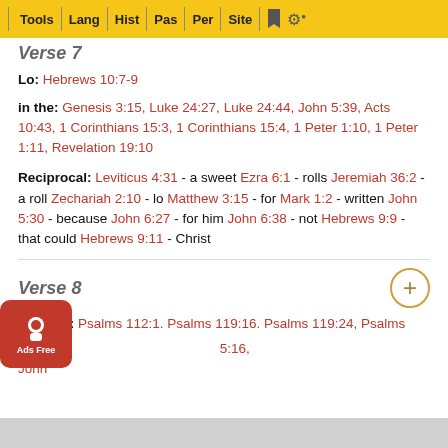Tools | Lang | Hist | Pas | Per | Site
Verse 7
Lo: Hebrews 10:7-9
in the: Genesis 3:15, Luke 24:27, Luke 24:44, John 5:39, Acts 10:43, 1 Corinthians 15:3, 1 Corinthians 15:4, 1 Peter 1:10, 1 Peter 1:11, Revelation 19:10
Reciprocal: Leviticus 4:31 - a sweet Ezra 6:1 - rolls Jeremiah 36:2 - a roll Zechariah 2:10 - lo Matthew 3:15 - for Mark 1:2 - written John 5:30 - because John 6:27 - for him John 6:38 - not Hebrews 9:9 - that could Hebrews 9:11 - Christ
Verse 8
I delight: Psalms 112:1. Psalms 119:16. Psalms 119:24, Psalms ... :16, John ...